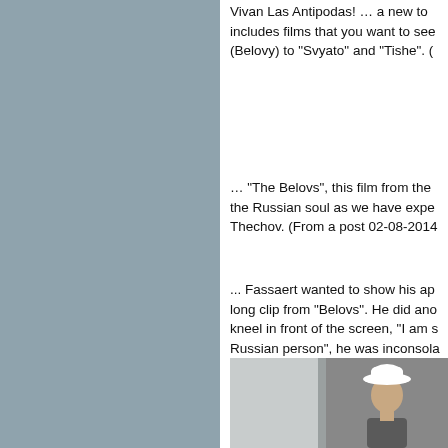[Figure (photo): Left side panel with muted blue-grey color, taking up roughly half the page width]
Vivan Las Antipodas! … a new to includes films that you want to see (Belovy) to "Svyato" and "Tishe". (
… "The Belovs", this film from the the Russian soul as we have expe Thechov. (From a post 02-08-2014
... Fassaert wanted to show his ap long clip from "Belovs". He did ano kneel in front of the screen, "I am s Russian person", he was inconsola left again, came back and stayed.
[Figure (photo): Partial photograph showing a person wearing a white hat, visible from approximately the shoulders up, against a dark background. Left portion shows light-colored vertical elements.]